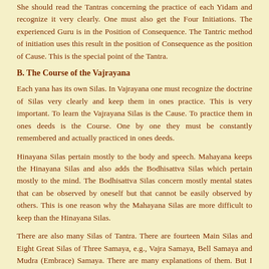She should read the Tantras concerning the practice of each Yidam and recognize it very clearly. One must also get the Four Initiations. The experienced Guru is in the Position of Consequence. The Tantric method of initiation uses this result in the position of Consequence as the position of Cause. This is the special point of the Tantra.
B. The Course of the Vajrayana
Each yana has its own Silas. In Vajrayana one must recognize the doctrine of Silas very clearly and keep them in ones practice. This is very important. To learn the Vajrayana Silas is the Cause. To practice them in ones deeds is the Course. One by one they must be constantly remembered and actually practiced in ones deeds.
Hinayana Silas pertain mostly to the body and speech. Mahayana keeps the Hinayana Silas and also adds the Bodhisattva Silas which pertain mostly to the mind. The Bodhisattva Silas concern mostly mental states that can be observed by oneself but that cannot be easily observed by others. This is one reason why the Mahayana Silas are more difficult to keep than the Hinayana Silas.
There are also many Silas of Tantra. There are fourteen Main Silas and Eight Great Silas of Three Samaya, e.g., Vajra Samaya, Bell Samaya and Mudra (Embrace) Samaya. There are many explanations of them. But I am sorry to say even in Tibet